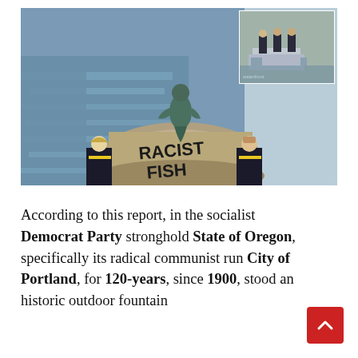[Figure (photo): Main photo: The Little Mermaid statue in Copenhagen with graffiti reading 'RACIST FISH' on the rock base. Police officers are visible in the foreground looking at the statue. An inset photo in the top right shows police officers standing near a vehicle by the waterfront.]
According to this report, in the socialist Democrat Party stronghold State of Oregon, specifically its radical communist run City of Portland, for 120-years, since 1900, stood an historic outdoor fountain